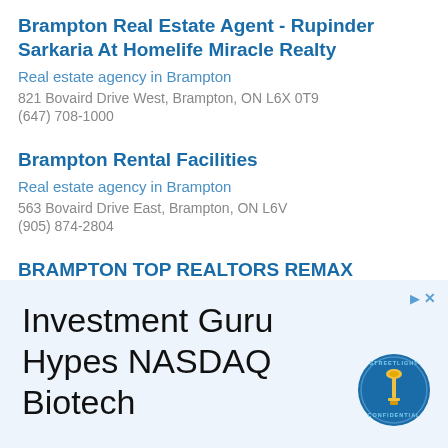Brampton Real Estate Agent - Rupinder Sarkaria At Homelife Miracle Realty
Real estate agency in Brampton
821 Bovaird Drive West, Brampton, ON L6X 0T9
(647) 708-1000
Brampton Rental Facilities
Real estate agency in Brampton
563 Bovaird Drive East, Brampton, ON L6V
(905) 874-2804
BRAMPTON TOP REALTORS REMAX
Real estate agency in Brampton
80 Castlehill Road, Brampton, ON L6X 4C8
(905) 456-1177
[Figure (infographic): Advertisement banner with light blue background. Text reads 'Investment Guru Hypes NASDAQ Biotech' in large dark font. StreetLight Confidential circular logo badge on the right. Small arrow and X icons in top-right corner.]